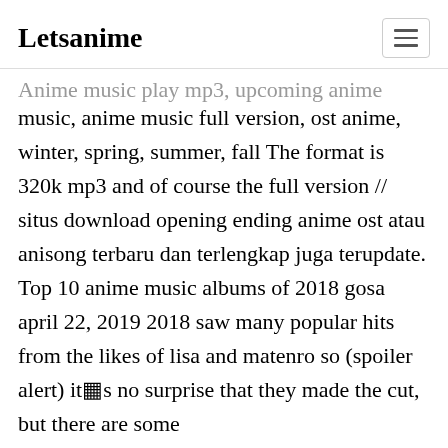Letsanime
Anime music play mp3, upcoming anime music, anime music full version, ost anime, winter, spring, summer, fall The format is 320k mp3 and of course the full version // situs download opening ending anime ost atau anisong terbaru dan terlengkap juga terupdate. Top 10 anime music albums of 2018 gosa april 22, 2019 2018 saw many popular hits from the likes of lisa and matenro so (spoiler alert) it�s no surprise that they made the cut, but there are some